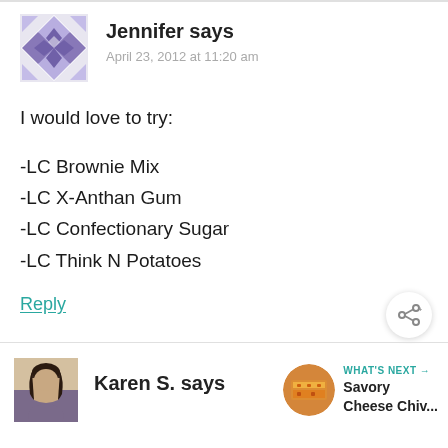[Figure (illustration): Geometric quilt-pattern avatar for Jennifer, purple/lavender and white diamond pattern]
Jennifer says
April 23, 2012 at 11:20 am
I would love to try:
-LC Brownie Mix
-LC X-Anthan Gum
-LC Confectionary Sugar
-LC Think N Potatoes
Reply
[Figure (illustration): Share icon button (circle with share symbol)]
[Figure (photo): Photo of Karen S., a woman with dark hair]
Karen S. says
[Figure (photo): Food photo thumbnail for 'Savory Cheese Chiv...' next article]
WHAT'S NEXT → Savory Cheese Chiv...